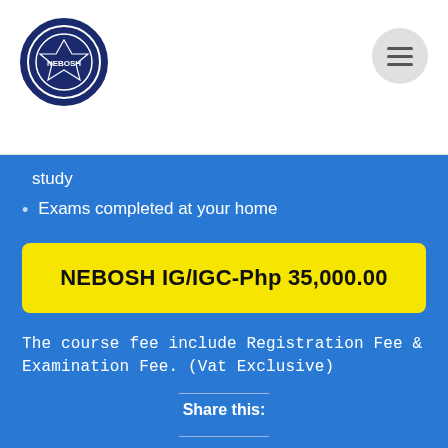[Figure (logo): Circular shield/crest logo in dark navy blue with white text and border]
[Figure (other): Hamburger menu icon — three horizontal lines in a light gray circle]
study
Exams completed at your home
NEBOSH IG/IGC-Php 35,000.00
The course fee include Registration Fee & Examination Fee. (Vat Exclusive)
Share this:
Twitter
Facebook
Like this: